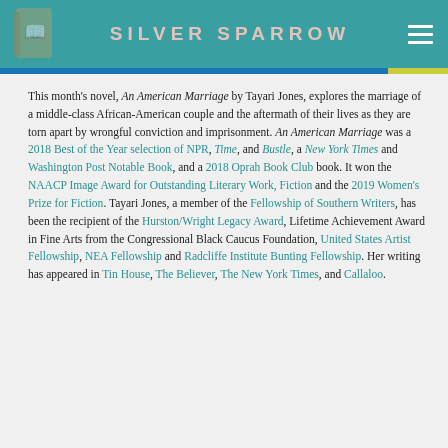SILVER SPARROW
This month's novel, An American Marriage by Tayari Jones, explores the marriage of a middle-class African-American couple and the aftermath of their lives as they are torn apart by wrongful conviction and imprisonment. An American Marriage was a 2018 Best of the Year selection of NPR, Time, and Bustle, a New York Times and Washington Post Notable Book, and a 2018 Oprah Book Club book. It won the NAACP Image Award for Outstanding Literary Work, Fiction and the 2019 Women's Prize for Fiction. Tayari Jones, a member of the Fellowship of Southern Writers, has been the recipient of the Hurston/Wright Legacy Award, Lifetime Achievement Award in Fine Arts from the Congressional Black Caucus Foundation, United States Artist Fellowship, NEA Fellowship and Radcliffe Institute Bunting Fellowship. Her writing has appeared in Tin House, The Believer, The New York Times, and Callaloo.